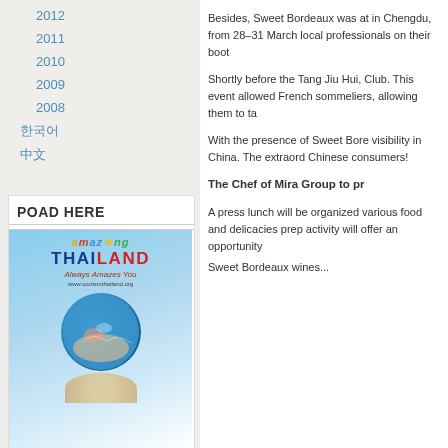2012
2011
2010
2009
2008
한국어
中文
POAD HERE
[Figure (photo): Amazing Thailand tourism advertisement showing globe with coral reef and fish, Thailand branding with 'Always Amazes You' tagline and www.tourismthailand.org website]
Besides, Sweet Bordeaux was at in Chengdu, from 28–31 March local professionals on their boot
Shortly before the Tang Jiu Hui, Club. This event allowed French sommeliers, allowing them to ta
With the presence of Sweet Bore visibility in China. The extraord Chinese consumers!
The Chef of Mira Group to pr
A press lunch will be organized various food and delicacies prep activity will offer an opportunity Sweet Bordeaux wines...